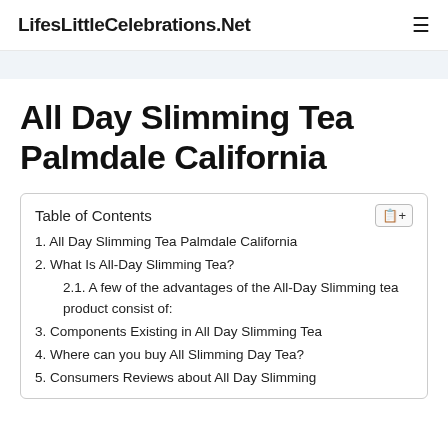LifesLittleCelebrations.Net
All Day Slimming Tea Palmdale California
| Table of Contents |
| --- |
| 1. All Day Slimming Tea Palmdale California |
| 2. What Is All-Day Slimming Tea? |
| 2.1. A few of the advantages of the All-Day Slimming tea product consist of: |
| 3. Components Existing in All Day Slimming Tea |
| 4. Where can you buy All Slimming Day Tea? |
| 5. Consumers Reviews about All Day Slimming |